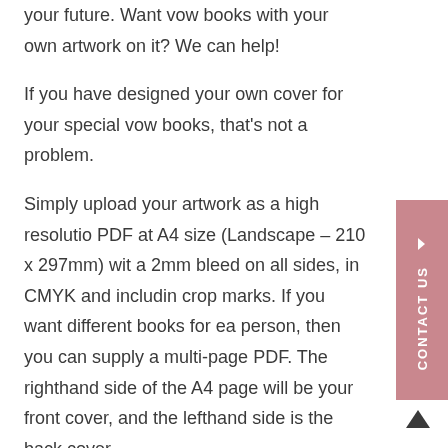your future. Want vow books with your own artwork on it? We can help!
If you have designed your own cover for your special vow books, that's not a problem.
Simply upload your artwork as a high resolution PDF at A4 size (Landscape – 210 x 297mm) with a 2mm bleed on all sides, in CMYK and including crop marks. If you want different books for each person, then you can supply a multi-page PDF. The righthand side of the A4 page will be your front cover, and the lefthand side is the back cover.